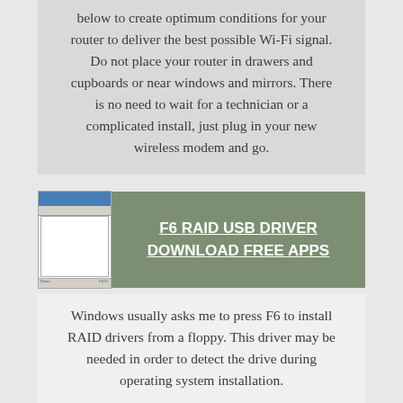below to create optimum conditions for your router to deliver the best possible Wi-Fi signal. Do not place your router in drawers and cupboards or near windows and mirrors. There is no need to wait for a technician or a complicated install, just plug in your new wireless modem and go.
[Figure (screenshot): Screenshot thumbnail of a Windows application dialog]
F6 RAID USB DRIVER DOWNLOAD FREE APPS
Windows usually asks me to press F6 to install RAID drivers from a floppy. This driver may be needed in order to detect the drive during operating system installation.